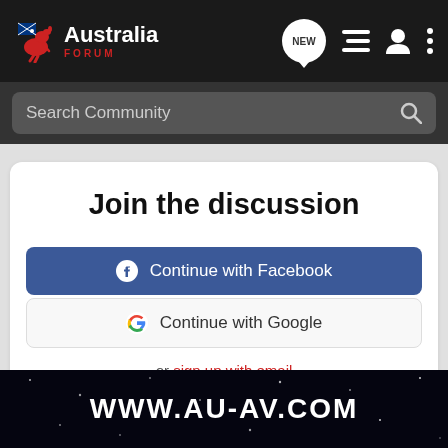[Figure (screenshot): Australia Forum website navbar with logo (kangaroo icon + 'Australia FORUM' text), NEW bubble icon, list icon, user icon, three-dots menu icon on dark background]
[Figure (screenshot): Search bar with text 'Search Community' and magnifying glass icon on dark grey background]
Join the discussion
[Figure (screenshot): Blue Facebook login button with Facebook logo icon and text 'Continue with Facebook']
[Figure (screenshot): White Google login button with Google G logo and text 'Continue with Google']
or sign up with email
Recommended Reading
[Figure (screenshot): Watermark overlay with text 'WWW.AU-AV.COM' on black starry background]